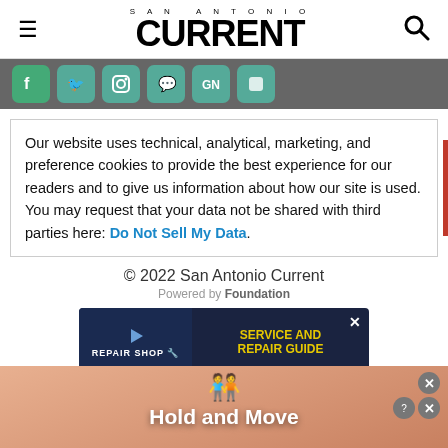SAN ANTONIO CURRENT
[Figure (screenshot): Social media share icons bar (Facebook, Twitter, Instagram, SMS, Google News, Apple News) on grey background]
Our website uses technical, analytical, marketing, and preference cookies to provide the best experience for our readers and to give us information about how our site is used. You may request that your data not be shared with third parties here: Do Not Sell My Data.
© 2022 San Antonio Current
Powered by Foundation
[Figure (screenshot): Advertisement banner: Repair Shop with Service and Repair Guide text on dark blue background]
[Figure (screenshot): Bottom ad banner: Hold and Move game advertisement with blue character figures on wooden background]